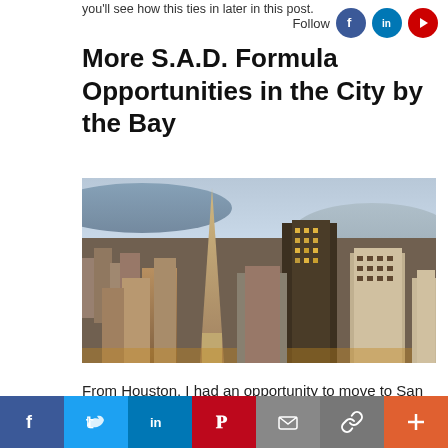you'll see how this ties in later in this post.
Follow
More S.A.D. Formula Opportunities in the City by the Bay
[Figure (photo): Aerial view of San Francisco skyline featuring the Transamerica Pyramid and surrounding skyscrapers at dusk with the bay visible in the background]
From Houston, I had an opportunity to move to San
Social share bar: Facebook, Twitter, LinkedIn, Pinterest, Email, Link, Plus